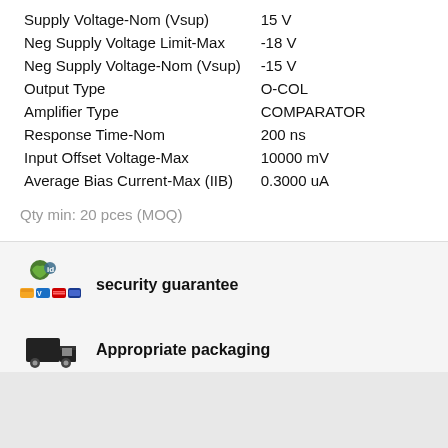| Property | Value |
| --- | --- |
| Supply Voltage-Nom (Vsup) | 15 V |
| Neg Supply Voltage Limit-Max | -18 V |
| Neg Supply Voltage-Nom (Vsup) | -15 V |
| Output Type | O-COL |
| Amplifier Type | COMPARATOR |
| Response Time-Nom | 200 ns |
| Input Offset Voltage-Max | 10000 mV |
| Average Bias Current-Max (IIB) | 0.3000 uA |
Qty min: 20 pces (MOQ)
security guarantee
Appropriate packaging